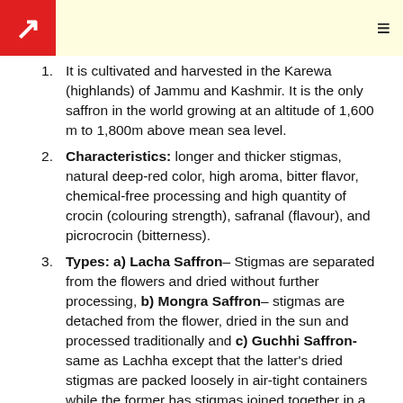It is cultivated and harvested in the Karewa (highlands) of Jammu and Kashmir. It is the only saffron in the world growing at an altitude of 1,600 m to 1,800m above mean sea level.
Characteristics: longer and thicker stigmas, natural deep-red color, high aroma, bitter flavor, chemical-free processing and high quantity of crocin (colouring strength), safranal (flavour), and picrocrocin (bitterness).
Types: a) Lacha Saffron– Stigmas are separated from the flowers and dried without further processing, b) Mongra Saffron– stigmas are detached from the flower, dried in the sun and processed traditionally and c) Guchhi Saffron- same as Lachha except that the latter's dried stigmas are packed loosely in air-tight containers while the former has stigmas joined together in a bundle tied with a cloth thread.
Significance: It is known all over the world as a spice, and